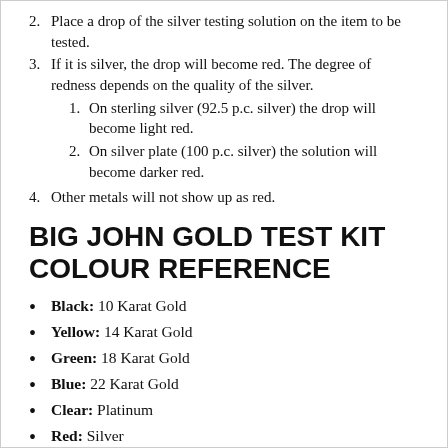2. Place a drop of the silver testing solution on the item to be tested.
3. If it is silver, the drop will become red. The degree of redness depends on the quality of the silver.
1. On sterling silver (92.5 p.c. silver) the drop will become light red.
2. On silver plate (100 p.c. silver) the solution will become darker red.
4. Other metals will not show up as red.
BIG JOHN GOLD TEST KIT COLOUR REFERENCE
Black: 10 Karat Gold
Yellow: 14 Karat Gold
Green: 18 Karat Gold
Blue: 22 Karat Gold
Clear: Platinum
Red: Silver